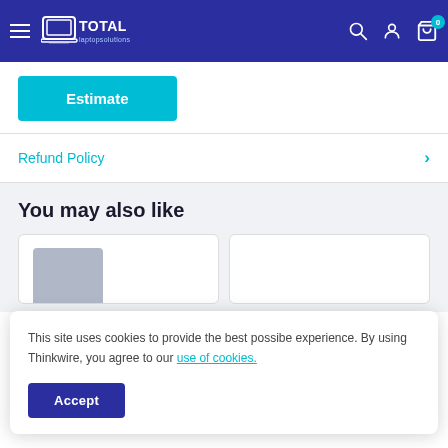Total Laptop Solutions — navigation bar with logo, search, account, and cart (0 items)
Estimate
Refund Policy
You may also like
This site uses cookies to provide the best possibe experience. By using Thinkwire, you agree to our use of cookies.
Accept